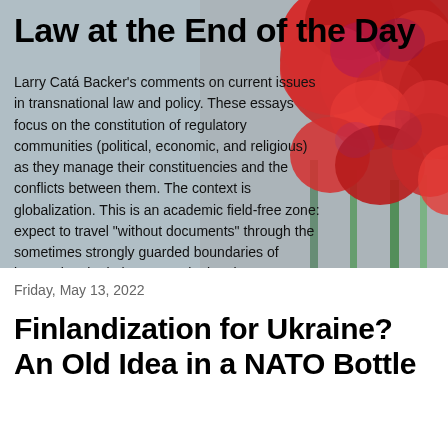[Figure (photo): Blog header image with red flowers (celosia/cockscomb) on the right side against a grey-blue sky background, overlaid with the blog title and description text.]
Law at the End of the Day
Larry Catá Backer's comments on current issues in transnational law and policy. These essays focus on the constitution of regulatory communities (political, economic, and religious) as they manage their constituencies and the conflicts between them. The context is globalization. This is an academic field-free zone: expect to travel "without documents" through the sometimes strongly guarded boundaries of international relations, constitutional, international, comparative, and corporate law.
Friday, May 13, 2022
Finlandization for Ukraine? An Old Idea in a NATO Bottle